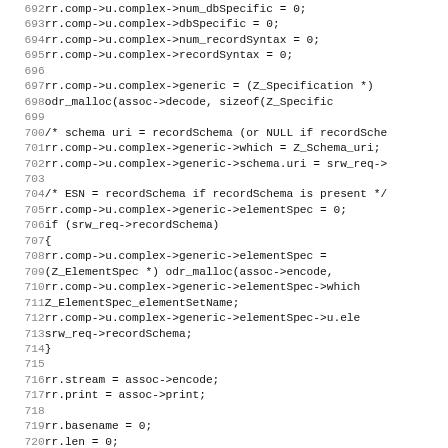Code listing lines 692-723, C source code showing rr.comp->u.complex field assignments and record schema handling logic